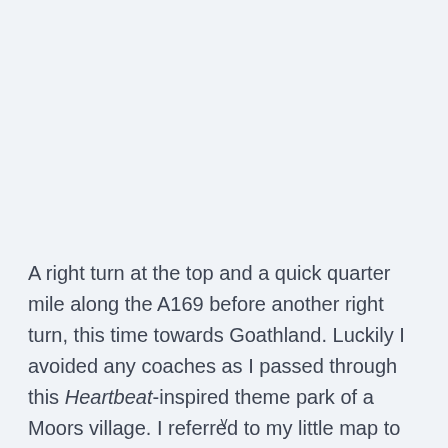A right turn at the top and a quick quarter mile along the A169 before another right turn, this time towards Goathland. Luckily I avoided any coaches as I passed through this Heartbeat-inspired theme park of a Moors village. I referred to my little map to make
v